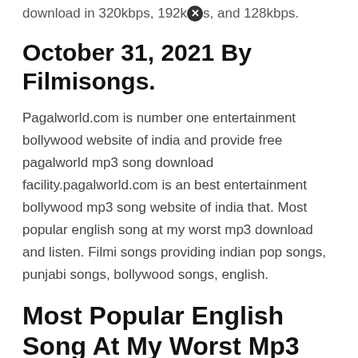download in 320kbps, 192kbps, and 128kbps.
October 31, 2021 By Filmisongs.
Pagalworld.com is number one entertainment bollywood website of india and provide free pagalworld mp3 song download facility.pagalworld.com is an best entertainment bollywood mp3 song website of india that. Most popular english song at my worst mp3 download and listen. Filmi songs providing indian pop songs, punjabi songs, bollywood songs, english.
Most Popular English Song At My Worst Mp3 Download And Listen.
Pagalworld songs download website is the best option to download high quality latest songs whether it is